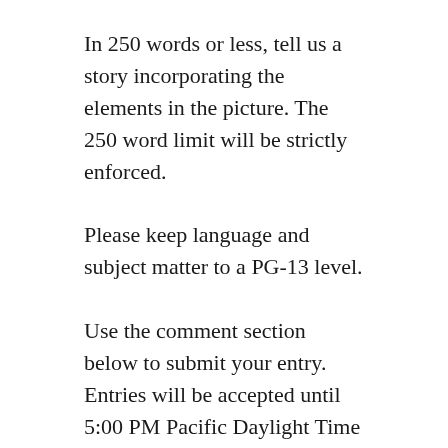In 250 words or less, tell us a story incorporating the elements in the picture. The 250 word limit will be strictly enforced.
Please keep language and subject matter to a PG-13 level.
Use the comment section below to submit your entry. Entries will be accepted until 5:00 PM Pacific Daylight Time on Tuesday, November 27th, 2012.
On Wednesday morning, we will open voting to the public with an online poll for the best writing entry accompanying the photo. Voting will be open until 5:00 PM Thursday,